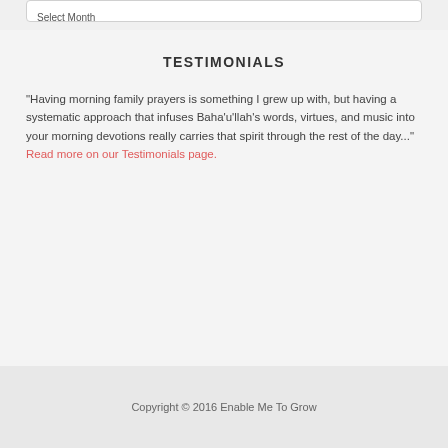Select Month
TESTIMONIALS
"Having morning family prayers is something I grew up with, but having a systematic approach that infuses Baha'u'llah's words, virtues, and music into your morning devotions really carries that spirit through the rest of the day..." Read more on our Testimonials page.
Copyright © 2016 Enable Me To Grow